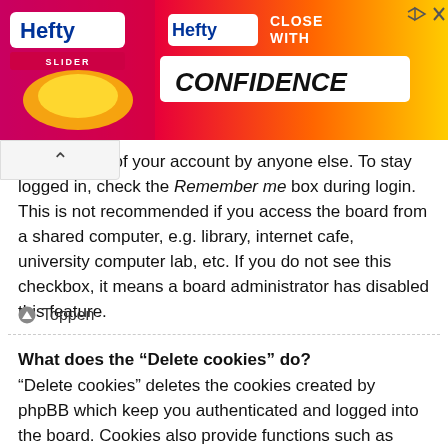[Figure (photo): Hefty Close With Confidence advertisement banner with pink/orange/yellow gradient background, Hefty Slider bag branding]
ents misuse of your account by anyone else. To stay logged in, check the Remember me box during login. This is not recommended if you access the board from a shared computer, e.g. library, internet cafe, university computer lab, etc. If you do not see this checkbox, it means a board administrator has disabled this feature.
Toppen
What does the “Delete cookies” do?
“Delete cookies” deletes the cookies created by phpBB which keep you authenticated and logged into the board. Cookies also provide functions such as read tracking if they have been enabled by a board administrator. If you are having login or logout problems, deleting board cookies may help.
Toppen